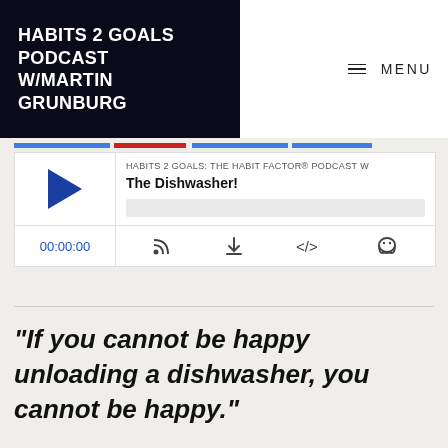HABITS 2 GOALS PODCAST W/MARTIN GRUNBURG
[Figure (screenshot): Podcast player widget showing episode 'The Dishwasher!' from Habits 2 Goals: The Habit Factor® Podcast, with play button, progress bar, time 00:00:00, and control icons]
“If you cannot be happy unloading a dishwasher, you cannot be happy.”